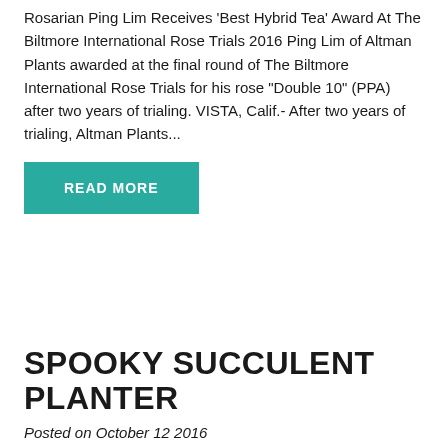Rosarian Ping Lim Receives 'Best Hybrid Tea' Award At The Biltmore International Rose Trials 2016 Ping Lim of Altman Plants awarded at the final round of The Biltmore International Rose Trials for his rose "Double 10" (PPA) after two years of trialing. VISTA, Calif.- After two years of trialing, Altman Plants...
READ MORE
SPOOKY SUCCULENT PLANTER
Posted on October 12 2016
Turn your yearly jack-o-lantern project into a unique, chic succulent pumpkin planter. Add your favorite variety of autumn colored succulents, which are both easy to maintain and care for. As summer turns to autumn, days...